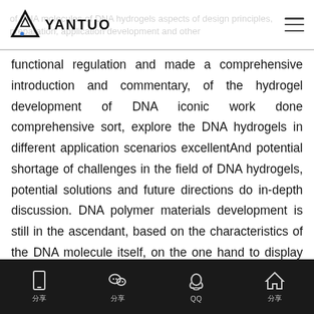YANTUO — of DNA molecules of DNA hydrogels aspects of design principles, preparation, application development and other
functional regulation and made a comprehensive introduction and commentary, of the hydrogel development of DNA iconic work done comprehensive sort, explore the DNA hydrogels in different application scenarios excellentAnd potential shortage of challenges in the field of DNA hydrogels, potential solutions and future directions do in-depth discussion. DNA polymer materials development is still in the ascendant, based on the characteristics of the DNA molecule itself, on the one hand to display their fists in the precision and accuracy of chemical synthesis, on the other hand, has a more unexpected structure or function of the new material is expected to continue to be
分享  分享  QQ  分享